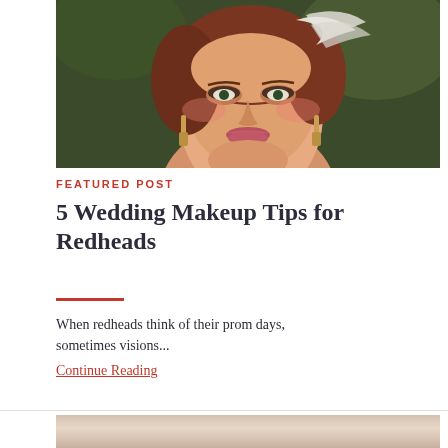[Figure (photo): Close-up portrait of a red-haired woman with bridal makeup, feathered hair accessory, and drop earrings against a green leafy background.]
FEATURED POST
5 Wedding Makeup Tips for Redheads
When redheads think of their prom days, sometimes visions...
Continue Reading
[Figure (photo): Partial view of a second photo showing a woman's face, partially cropped at the bottom of the page.]